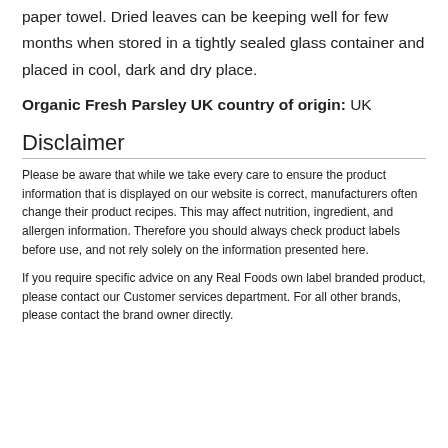paper towel. Dried leaves can be keeping well for few months when stored in a tightly sealed glass container and placed in cool, dark and dry place.
Organic Fresh Parsley UK country of origin: UK
Disclaimer
Please be aware that while we take every care to ensure the product information that is displayed on our website is correct, manufacturers often change their product recipes. This may affect nutrition, ingredient, and allergen information. Therefore you should always check product labels before use, and not rely solely on the information presented here.
If you require specific advice on any Real Foods own label branded product, please contact our Customer services department. For all other brands, please contact the brand owner directly.